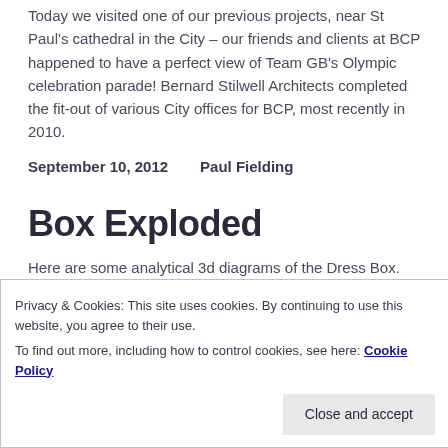Today we visited one of our previous projects, near St Paul's cathedral in the City – our friends and clients at BCP happened to have a perfect view of Team GB's Olympic celebration parade! Bernard Stilwell Architects completed the fit-out of various City offices for BCP, most recently in 2010.
September 10, 2012    Paul Fielding
Box Exploded
Here are some analytical 3d diagrams of the Dress Box.
Privacy & Cookies: This site uses cookies. By continuing to use this website, you agree to their use. To find out more, including how to control cookies, see here: Cookie Policy